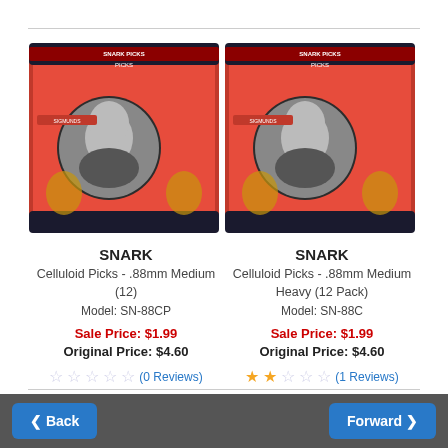[Figure (photo): Snark guitar picks product package - red background with Freud image, 12 picks]
SNARK
Celluloid Picks - .88mm Medium (12)
Model: SN-88CP
Sale Price: $1.99
Original Price: $4.60
(0 Reviews)
2 models to choose from
[Figure (photo): Snark guitar picks product package - red background with Freud image, 12 picks]
SNARK
Celluloid Picks - .88mm Medium Heavy (12 Pack)
Model: SN-88C
Sale Price: $1.99
Original Price: $4.60
(1 Reviews)
4 models to choose from
Back  Forward